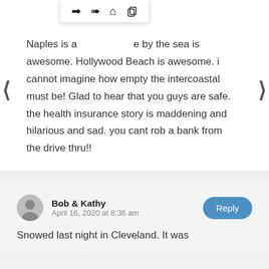[Figure (screenshot): Browser navigation toolbar with forward, back, home, and share icons]
Naples is a [partially obscured] e by the sea is awesome. Hollywood Beach is awesome. i cannot imagine how empty the intercoastal must be! Glad to hear that you guys are safe. the health insurance story is maddening and hilarious and sad. you cant rob a bank from the drive thru!!
Bob & Kathy
April 16, 2020 at 8:36 am
Snowed last night in Cleveland. It was